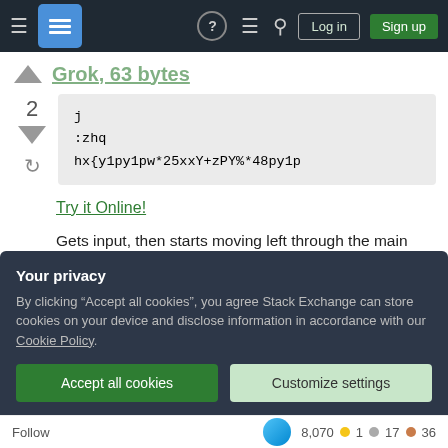Stack Exchange navigation bar with Log in and Sign up buttons
Grok, 63 bytes
2
j
:zhq
hx{y1py1pw*25xxY+zPY%*48py1p
Try it Online!
Gets input, then starts moving left through the main program, which juggles the register, where the running sum is stored, and the stack, where the input and some calculations are stored. Once all
Your privacy
By clicking "Accept all cookies", you agree Stack Exchange can store cookies on your device and disclose information in accordance with our Cookie Policy.
Follow  8,070  1  17  36